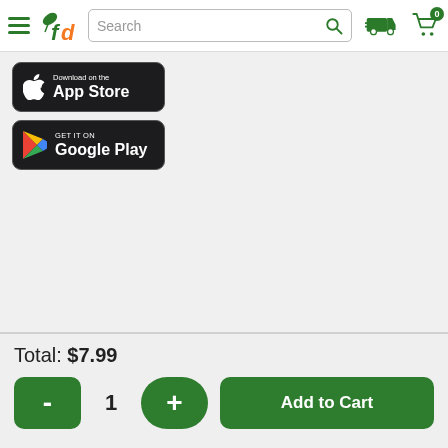[Figure (screenshot): Navigation bar with hamburger menu, fd logo, search bar, delivery truck icon, and shopping cart with 0 items]
[Figure (screenshot): Download on the App Store badge (black rounded rectangle with Apple logo)]
[Figure (screenshot): Get it on Google Play badge (black rounded rectangle with Play Store triangle logo)]
Total: $7.99
- 1 + Add to Cart